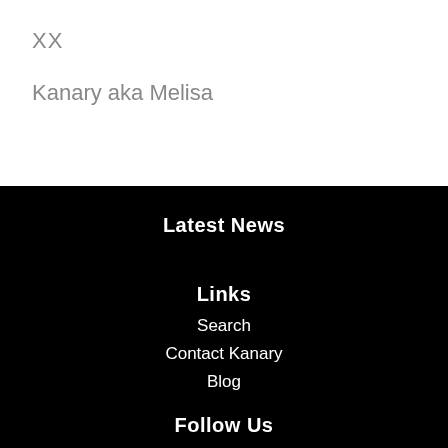XX
Kanary aka Melisa
Latest News
Links
Search
Contact Kanary
Blog
Follow Us